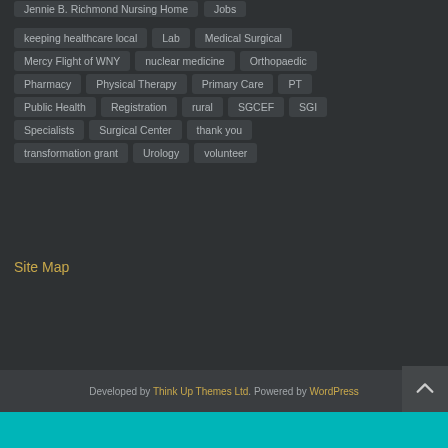Jennie B. Richmond Nursing Home
Jobs
keeping healthcare local
Lab
Medical Surgical
Mercy Flight of WNY
nuclear medicine
Orthopaedic
Pharmacy
Physical Therapy
Primary Care
PT
Public Health
Registration
rural
SGCEF
SGI
Specialists
Surgical Center
thank you
transformation grant
Urology
volunteer
Site Map
Developed by Think Up Themes Ltd. Powered by WordPress